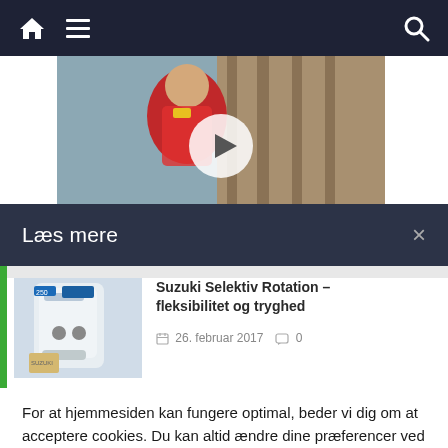Navigation bar with home icon, hamburger menu, and search icon
[Figure (photo): Person wearing red life jacket near wooden dock, partially visible, with white circular play button overlay]
Læs mere
[Figure (photo): Suzuki outboard motor (250hp) thumbnail image]
Suzuki Selektiv Rotation – fleksibilitet og tryghed
26. februar 2017   0
For at hjemmesiden kan fungere optimal, beder vi dig om at acceptere cookies. Du kan altid ændre dine præferencer ved at klikke på "Cookie Settings".
Cookie Settings   Accepter cookies